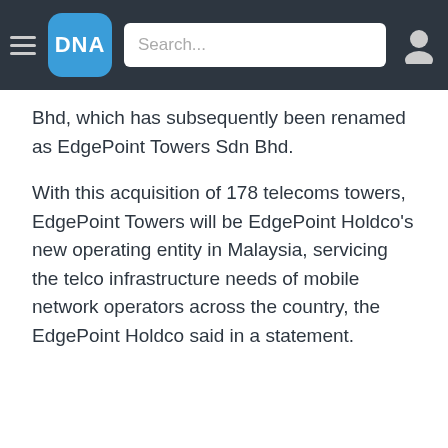DNA | Search...
Bhd, which has subsequently been renamed as EdgePoint Towers Sdn Bhd.
With this acquisition of 178 telecoms towers, EdgePoint Towers will be EdgePoint Holdco's new operating entity in Malaysia, servicing the telco infrastructure needs of mobile network operators across the country, the EdgePoint Holdco said in a statement.